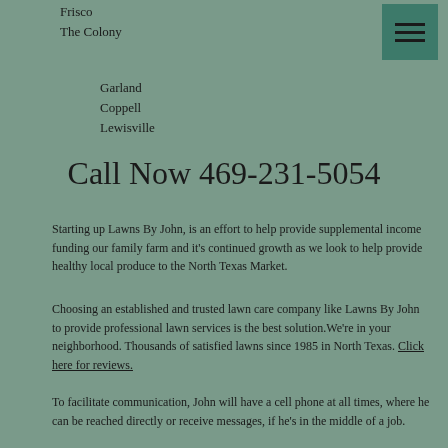Frisco
The Colony
Garland
Coppell
Lewisville
[Figure (other): Hamburger menu button icon with three horizontal lines on a teal/dark green background square]
Call Now 469-231-5054
Starting up Lawns By John, is an effort to help provide supplemental income funding our family farm and it's continued growth as we look to help provide healthy local produce to the North Texas Market.
Choosing an established and trusted lawn care company like Lawns By John to provide professional lawn services is the best solution.We're in your neighborhood. Thousands of satisfied lawns since 1985 in North Texas. Click here for reviews.
To facilitate communication, John will have a cell phone at all times, where he can be reached directly or receive messages, if he's in the middle of a job.